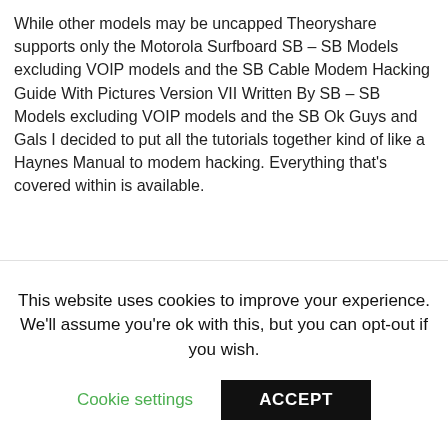While other models may be uncapped Theoryshare supports only the Motorola Surfboard SB – SB Models excluding VOIP models and the SB Cable Modem Hacking Guide With Pictures Version VII Written By SB – SB Models excluding VOIP models and the SB Ok Guys and Gals I decided to put all the tutorials together kind of like a Haynes Manual to modem hacking. Everything that's covered within is available.
[Figure (screenshot): Screenshot of article text about improving modem speed, config files, and ISP upload/download settings.]
This website uses cookies to improve your experience. We'll assume you're ok with this, but you can opt-out if you wish.
Cookie settings
ACCEPT